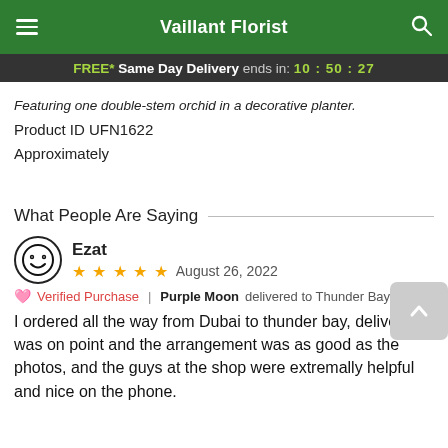Vaillant Florist
FREE* Same Day Delivery ends in: 10:50:27
Featuring one double-stem orchid in a decorative planter.
Product ID UFN1622
Approximately
What People Are Saying
Ezat
★★★★★ August 26, 2022
Verified Purchase | Purple Moon delivered to Thunder Bay, ON
I ordered all the way from Dubai to thunder bay, delivery was on point and the arrangement was as good as the photos, and the guys at the shop were extremally helpful and nice on the phone.